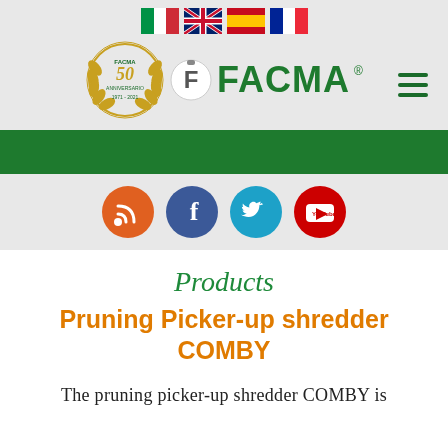[Figure (logo): FACMA company logo with 50th anniversary emblem and flag icons (Italian, UK, Spanish, French flags) plus hamburger menu icon]
[Figure (infographic): Green navigation bar]
[Figure (infographic): Social media icons: RSS (orange), Facebook (dark blue), Twitter (teal), YouTube (red)]
Products
Pruning Picker-up shredder COMBY
The pruning picker-up shredder COMBY is